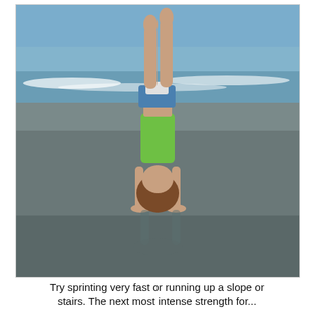[Figure (photo): A person doing a handstand on a wet beach near the ocean shoreline. The person is wearing a green top and blue/white bottoms, with legs extended straight up. Waves and blue sky are visible in the background. The wet sand reflects the figure.]
Try sprinting very fast or running up a slope or stairs. The next most intense strength for...